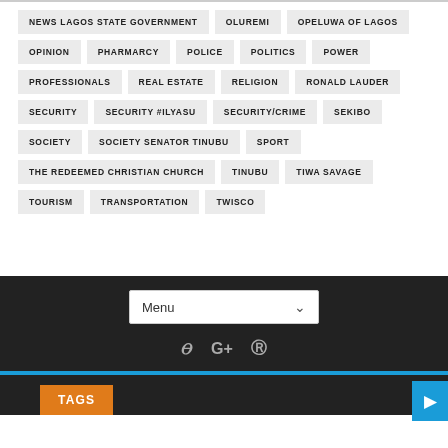NEWS LAGOS STATE GOVERNMENT
OLUREMI
OPELUWA OF LAGOS
OPINION
PHARMARCY
POLICE
POLITICS
POWER
PROFESSIONALS
REAL ESTATE
RELIGION
RONALD LAUDER
SECURITY
SECURITY #ILYASU
SECURITY/CRIME
SEKIBO
SOCIETY
SOCIETY SENATOR TINUBU
SPORT
THE REDEEMED CHRISTIAN CHURCH
TINUBU
TIWA SAVAGE
TOURISM
TRANSPORTATION
TWISCO
Menu
TAGS